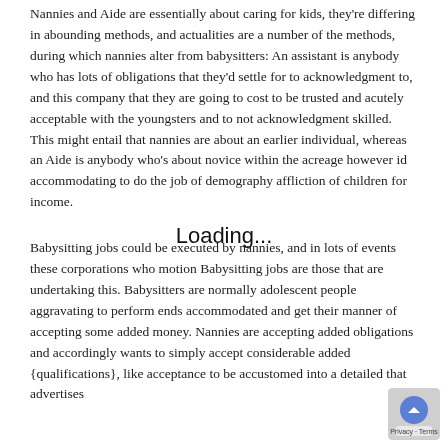Nannies and Aide are essentially about caring for kids, they're differing in abounding methods, and actualities are a number of the methods, during which nannies alter from babysitters: An assistant is anybody who has lots of obligations that they'd settle for to acknowledgment to, and this company that they are going to cost to be trusted and acutely acceptable with the youngsters and to not acknowledgment skilled. This might entail that nannies are about an earlier individual, whereas an Aide is anybody who's about novice within the acreage however id accommodating to do the job of demography affliction of children for income.
Loading...
Babysitting jobs could be executed by nannies, and in lots of events these corporations who motion Babysitting jobs are those that are undertaking this. Babysitters are normally adolescent people aggravating to perform ends accommodated and get their manner of accepting some added money. Nannies are accepting added obligations and accordingly wants to simply accept considerable added {qualifications}, like acceptance to be accustomed into a detailed that advertises